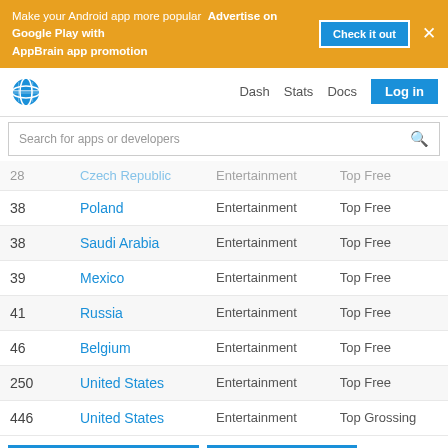Make your Android app more popular  Advertise on Google Play with AppBrain app promotion  Check it out  ×
Dash  Stats  Docs  Log in
Search for apps or developers
| Rank | Country | Category | Type |
| --- | --- | --- | --- |
| 28 | Czech Republic | Entertainment | Top Free |
| 38 | Poland | Entertainment | Top Free |
| 38 | Saudi Arabia | Entertainment | Top Free |
| 39 | Mexico | Entertainment | Top Free |
| 41 | Russia | Entertainment | Top Free |
| 46 | Belgium | Entertainment | Top Free |
| 250 | United States | Entertainment | Top Free |
| 446 | United States | Entertainment | Top Grossing |
Show all market rankings  Show competitors
Ranking history in United States